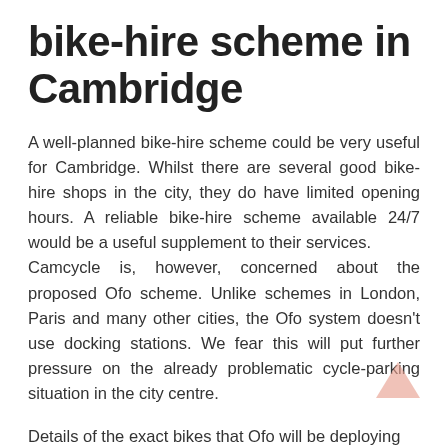bike-hire scheme in Cambridge
A well-planned bike-hire scheme could be very useful for Cambridge. Whilst there are several good bike-hire shops in the city, they do have limited opening hours. A reliable bike-hire scheme available 24/7 would be a useful supplement to their services.
Camcycle is, however, concerned about the proposed Ofo scheme. Unlike schemes in London, Paris and many other cities, the Ofo system doesn't use docking stations. We fear this will put further pressure on the already problematic cycle-parking situation in the city centre.
Details of the exact bikes that Ofo will be deploying